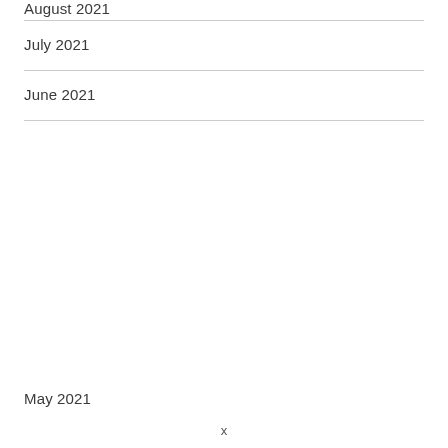August 2021
July 2021
June 2021
May 2021